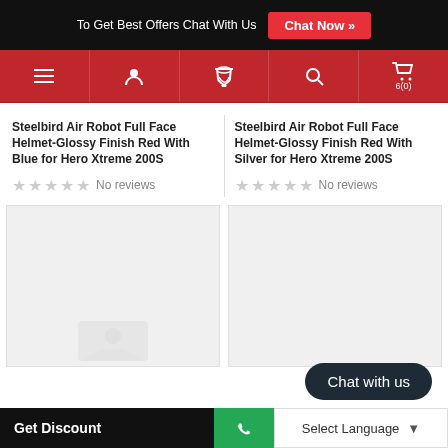To Get Best Offers Chat With Us  Chat Now »
[Figure (screenshot): Red navigation bar with hamburger menu, user icon, phone icon, search icon, and cart icon showing 6(0)]
Steelbird Air Robot Full Face Helmet-Glossy Finish Red With Blue for Hero Xtreme 200S
★★★★★ No reviews
Steelbird Air Robot Full Face Helmet-Glossy Finish Red With Silver for Hero Xtreme 200S
★★★★★ No reviews
[Figure (photo): Product image placeholder left]
[Figure (photo): Product image placeholder right with Chat with us widget]
Get Discount  [WhatsApp icon]  Select Language ▼